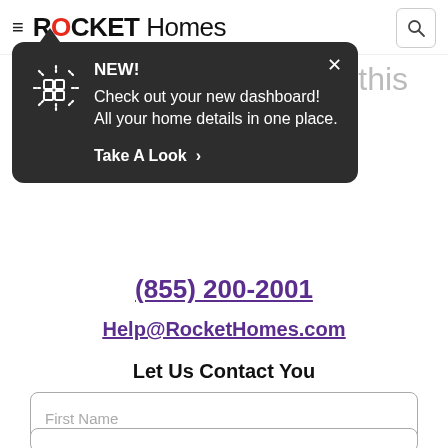ROCKET Homes
[Figure (screenshot): Rocket Homes website header with hamburger menu, ROCKET Homes logo (O in red), and search icon button]
[Figure (infographic): Dark tooltip popup with NEW! label, dashboard icon, text 'Check out your new dashboard! All your home details in one place.' and 'Take A Look >' CTA. Has X close button.]
Have questions about this home?
Contact Us
(855) 200-2001
Help@RocketHomes.com
Let Us Contact You
First Name